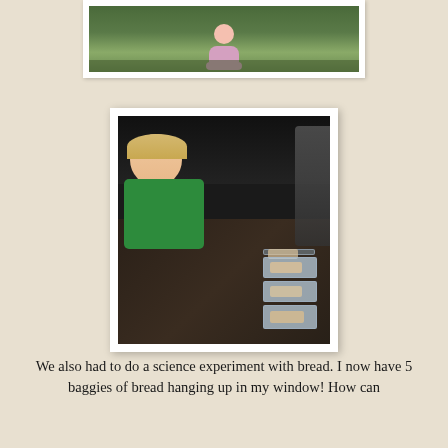[Figure (photo): Partial view of a child sitting outdoors on grass, cropped at the top of the page]
[Figure (photo): A young girl with blonde hair wearing a green shirt, leaning over a dark kitchen counter with bags of bread lined up in front of her, smiling at the camera]
We also had to do a science experiment with bread. I now have 5 baggies of bread hanging up in my window! How can